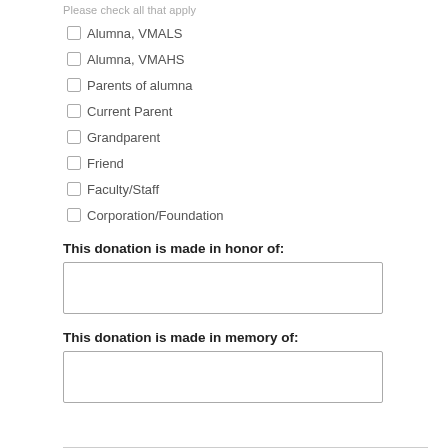Please check all that apply
Alumna, VMALS
Alumna, VMAHS
Parents of alumna
Current Parent
Grandparent
Friend
Faculty/Staff
Corporation/Foundation
This donation is made in honor of:
This donation is made in memory of: